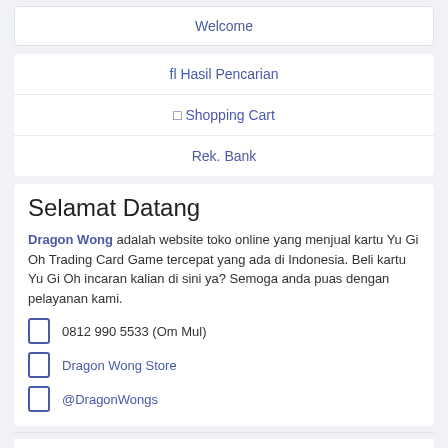Welcome
fl Hasil Pencarian
□ Shopping Cart
Rek. Bank
Selamat Datang
Dragon Wong adalah website toko online yang menjual kartu Yu Gi Oh Trading Card Game tercepat yang ada di Indonesia. Beli kartu Yu Gi Oh incaran kalian di sini ya? Semoga anda puas dengan pelayanan kami.
0812 990 5533 (Om Mul)
Dragon Wong Store
@DragonWongs
Hot Item!